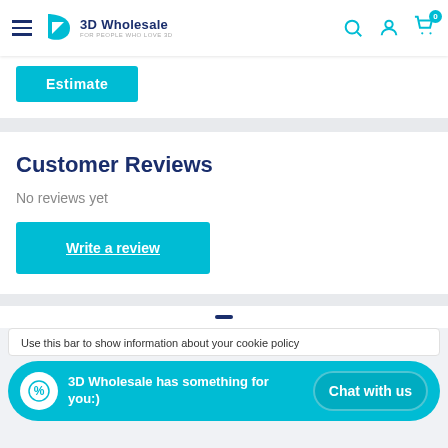3D Wholesale - For people who love 3D
[Figure (screenshot): Estimate button - teal/cyan colored button]
Customer Reviews
No reviews yet
[Figure (screenshot): Write a review button - teal/cyan colored button]
Use this bar to show information about your cookie policy
3D Wholesale has something for you:)
Chat with us